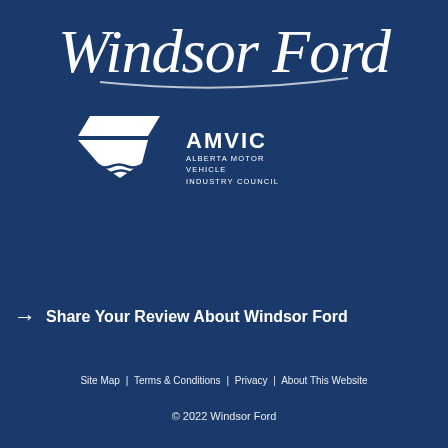[Figure (logo): Windsor Ford cursive script logo in white on dark blue background]
[Figure (logo): AMVIC (Alberta Motor Vehicle Industry Council) logo with white shield/map shape and text]
→  Share Your Review About Windsor Ford
Site Map | Terms & Conditions | Privacy | About This Website
© 2022 Windsor Ford